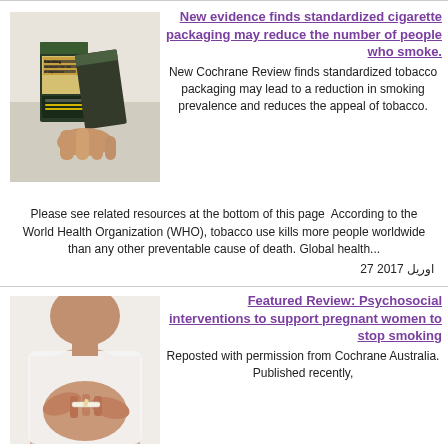[Figure (photo): Hands holding standardized cigarette packages with health warnings]
New evidence finds standardized cigarette packaging may reduce the number of people who smoke.
New Cochrane Review finds standardized tobacco packaging may lead to a reduction in smoking prevalence and reduces the appeal of tobacco. Please see related resources at the bottom of this page According to the World Health Organization (WHO), tobacco use kills more people worldwide than any other preventable cause of death. Global health...
27 اوریل 2017
[Figure (photo): Pregnant woman breaking a cigarette]
Featured Review: Psychosocial interventions to support pregnant women to stop smoking
Reposted with permission from Cochrane Australia. Published recently,